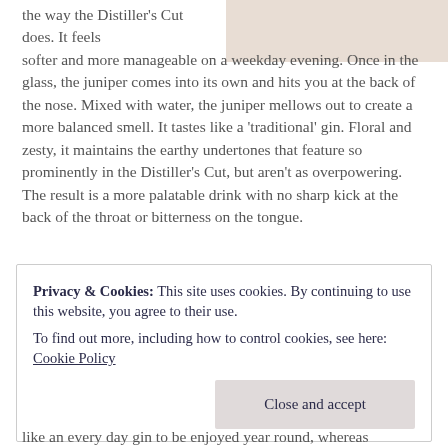[Figure (photo): Pale beige/cream colored image placeholder in upper right corner]
the way the Distiller's Cut does. It feels softer and more manageable on a weekday evening. Once in the glass, the juniper comes into its own and hits you at the back of the nose. Mixed with water, the juniper mellows out to create a more balanced smell. It tastes like a 'traditional' gin. Floral and zesty, it maintains the earthy undertones that feature so prominently in the Distiller's Cut, but aren't as overpowering. The result is a more palatable drink with no sharp kick at the back of the throat or bitterness on the tongue.
Privacy & Cookies: This site uses cookies. By continuing to use this website, you agree to their use.
To find out more, including how to control cookies, see here: Cookie Policy
like an every day gin to be enjoyed year round, whereas